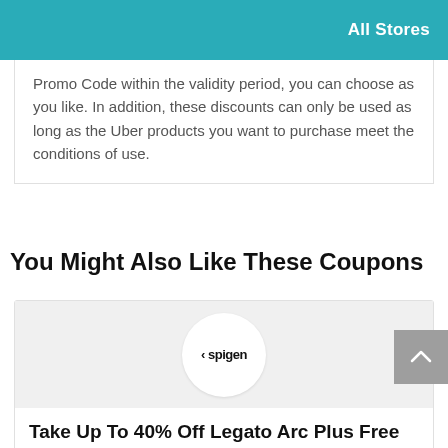All Stores
Promo Code within the validity period, you can choose as you like. In addition, these discounts can only be used as long as the Uber products you want to purchase meet the conditions of use.
You Might Also Like These Coupons
[Figure (logo): Spigen logo inside a white circle on a light gray background]
Take Up To 40% Off Legato Arc Plus Free Delivery For Spring Special